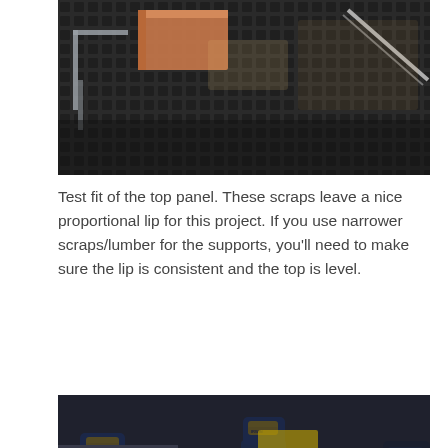[Figure (photo): Photo showing a test fit of a wooden top panel on a metal mesh surface, with woodworking squares and tools visible.]
Test fit of the top panel. These scraps leave a nice proportional lip for this project. If you use narrower scraps/lumber for the supports, you'll need to make sure the lip is consistent and the top is level.
[Figure (photo): Photo showing a wooden box being assembled with blue IRWIN clamps holding the pieces together on a workbench.]